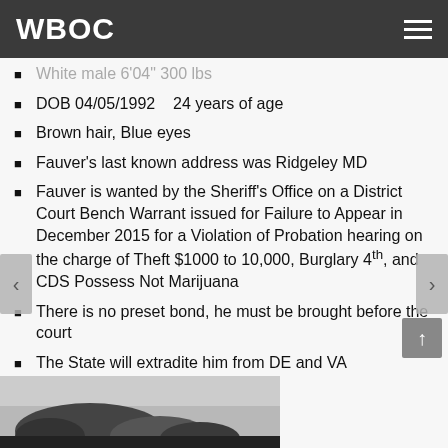WBOC
White male 6'04" 300 lbs
DOB 04/05/1992    24 years of age
Brown hair, Blue eyes
Fauver's last known address was Ridgeley MD
Fauver is wanted by the Sheriff's Office on a District Court Bench Warrant issued for Failure to Appear in December 2015 for a Violation of Probation hearing on the charge of Theft $1000 to 10,000, Burglary 4th, and CDS Possess Not Marijuana
There is no preset bond, he must be brought before the court
The State will extradite him from DE and VA
[Figure (photo): Partial black and white photo at bottom of page, appears to show trees or outdoor scene]